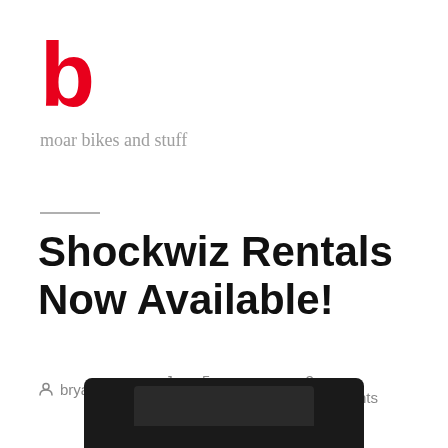[Figure (logo): Red stylized letter 'b' logo]
moar bikes and stuff
Shockwiz Rentals Now Available!
bryanus   June 5, 2017   2 Comments
[Figure (photo): Bottom portion of a black device (Shockwiz) partially visible at the bottom of the page]